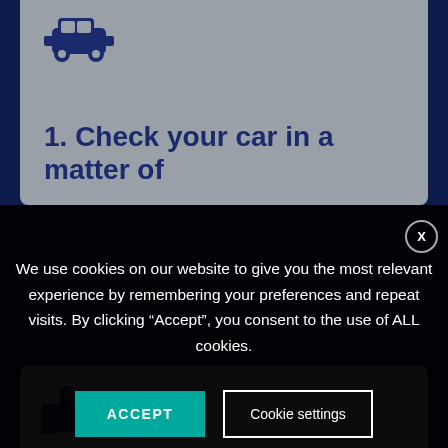[Figure (screenshot): Top section of a webpage showing a grey card with a car icon and heading '1. Check your car in a matter of']
1. Check your car in a matter of
We use cookies on our website to give you the most relevant experience by remembering your preferences and repeat visits. By clicking “Accept”, you consent to the use of ALL cookies.
[Figure (screenshot): Bottom section showing a grey card with a thumbs up icon, partially visible]